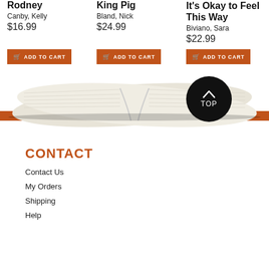Rodney
Canby, Kelly
$16.99
King Pig
Bland, Nick
$24.99
It's Okay to Feel This Way
Biviano, Sara
$22.99
ADD TO CART
ADD TO CART
ADD TO CART
[Figure (photo): Open book viewed from the side with orange spine, showing fanned pages, with a black circular TOP button overlaid]
CONTACT
Contact Us
My Orders
Shipping
Help